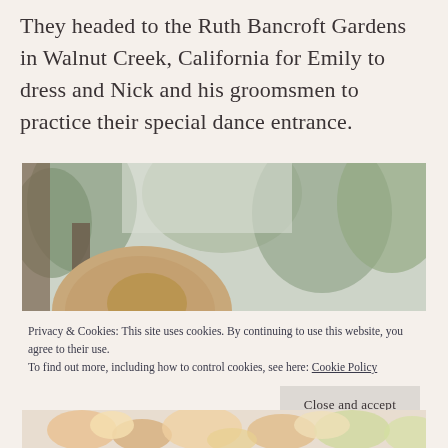They headed to the Ruth Bancroft Gardens in Walnut Creek, California for Emily to dress and Nick and his groomsmen to practice their special dance entrance.
[Figure (photo): Outdoor wedding photo showing back of bride's head with light brown updo hairstyle, blurred green trees and sky in background]
Privacy & Cookies: This site uses cookies. By continuing to use this website, you agree to their use.
To find out more, including how to control cookies, see here: Cookie Policy
[Figure (photo): Bottom portion of another wedding photo showing floral arrangement with warm peach and yellow tones]